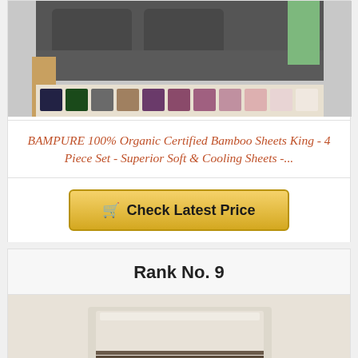[Figure (photo): Dark grey bamboo bed sheets set on a bed, with multiple folded color swatches shown below]
BAMPURE 100% Organic Certified Bamboo Sheets King - 4 Piece Set - Superior Soft & Cooling Sheets -...
[Figure (other): Check Latest Price button with shopping cart icon]
Rank No. 9
[Figure (photo): Light beige/cream colored folded sheet set]